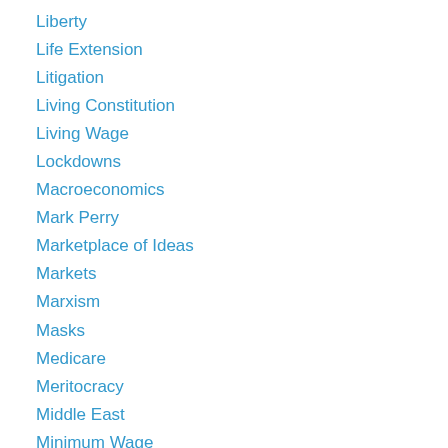Liberty
Life Extension
Litigation
Living Constitution
Living Wage
Lockdowns
Macroeconomics
Mark Perry
Marketplace of Ideas
Markets
Marxism
Masks
Medicare
Meritocracy
Middle East
Minimum Wage
Mobility
Monetary Policy
monopoly
Moral License